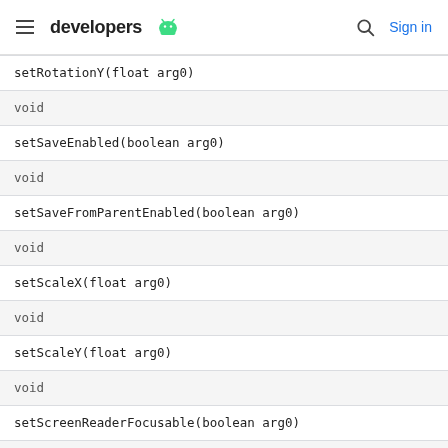developers
| setRotationY(float arg0) |
| void |
| setSaveEnabled(boolean arg0) |
| void |
| setSaveFromParentEnabled(boolean arg0) |
| void |
| setScaleX(float arg0) |
| void |
| setScaleY(float arg0) |
| void |
| setScreenReaderFocusable(boolean arg0) |
| void |
| setScrollBarDefaultDelayBeforeFade(int arg0) |